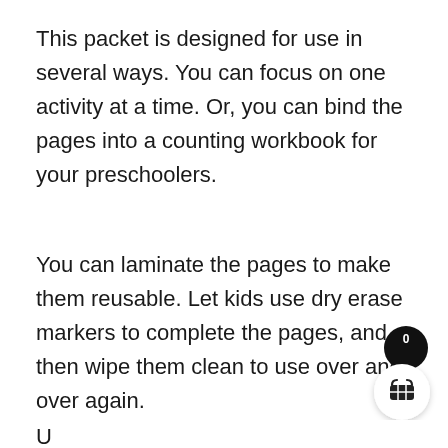This packet is designed for use in several ways. You can focus on one activity at a time. Or, you can bind the pages into a counting workbook for your preschoolers.
You can laminate the pages to make them reusable. Let kids use dry erase markers to complete the pages, and then wipe them clean to use over and over again.
U...
[Figure (other): Shopping cart icon button with badge showing 0, white circle button with basket icon]